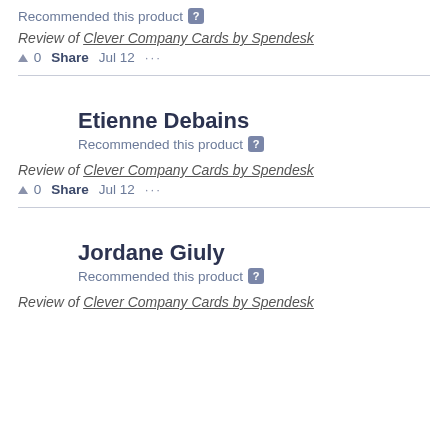Recommended this product
Review of Clever Company Cards by Spendesk
▲ 0   Share   Jul 12   ...
Etienne Debains
Recommended this product
Review of Clever Company Cards by Spendesk
▲ 0   Share   Jul 12   ...
Jordane Giuly
Recommended this product
Review of Clever Company Cards by Spendesk